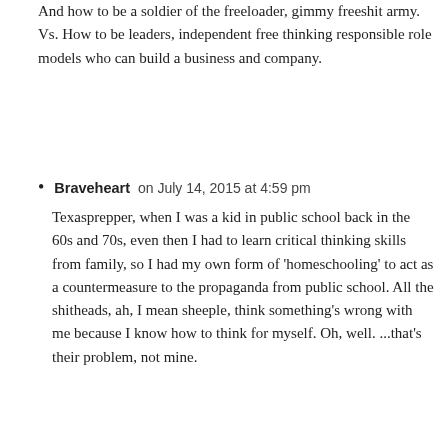And how to be a soldier of the freeloader, gimmy freeshit army. Vs. How to be leaders, independent free thinking responsible role models who can build a business and company.
Braveheart on July 14, 2015 at 4:59 pm
Texasprepper, when I was a kid in public school back in the 60s and 70s, even then I had to learn critical thinking skills from family, so I had my own form of 'homeschooling' to act as a countermeasure to the propaganda from public school. All the shitheads, ah, I mean sheeple, think something's wrong with me because I know how to think for myself. Oh, well. ...that's their problem, not mine.